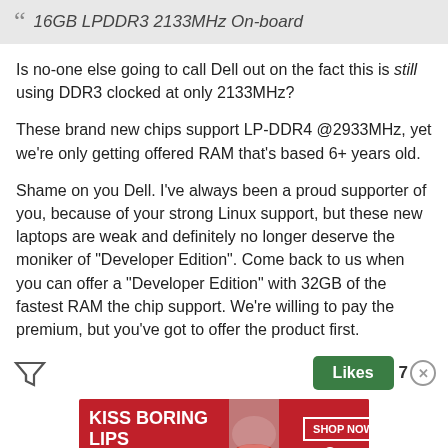16GB LPDDR3 2133MHz On-board
Is no-one else going to call Dell out on the fact this is still using DDR3 clocked at only 2133MHz?
These brand new chips support LP-DDR4 @2933MHz, yet we're only getting offered RAM that's based 6+ years old.
Shame on you Dell. I've always been a proud supporter of you, because of your strong Linux support, but these new laptops are weak and definitely no longer deserve the moniker of "Developer Edition". Come back to us when you can offer a "Developer Edition" with 32GB of the fastest RAM the chip support. We're willing to pay the premium, but you've got to offer the product first.
[Figure (infographic): Advertisement banner for Macy's: 'KISS BORING LIPS GOODBYE' with SHOP NOW button and Macy's logo on a red background with a photo of a woman's lips.]